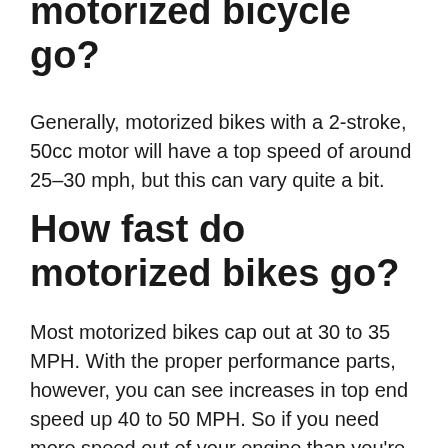motorized bicycle go?
Generally, motorized bikes with a 2-stroke, 50cc motor will have a top speed of around 25–30 mph, but this can vary quite a bit.
How fast do motorized bikes go?
Most motorized bikes cap out at 30 to 35 MPH. With the proper performance parts, however, you can see increases in top end speed up 40 to 50 MPH. So if you need more speed out of your engine than you're getting, it might be time to swap out some parts.